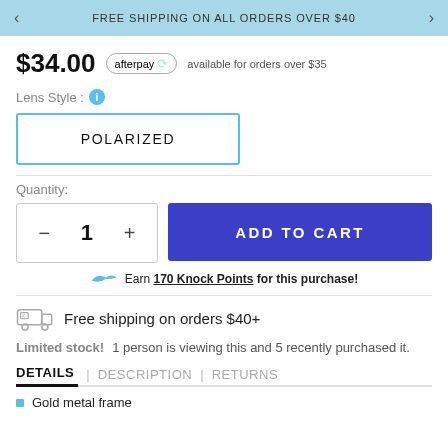FREE SHIPPING ON ALL ORDERS OVER $40
$34.00  afterpay  available for orders over $35
Lens Style :
POLARIZED
Quantity:
- 1 +
ADD TO CART
Earn 170 Knock Points for this purchase!
Free shipping on orders $40+
Limited stock!   1 person is viewing this and 5 recently purchased it.
DETAILS  |  DESCRIPTION  |  RETURNS
Gold metal frame